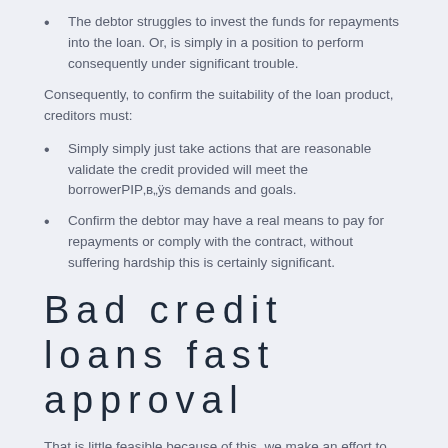The debtor struggles to invest the funds for repayments into the loan. Or, is simply in a position to perform consequently under significant trouble.
Consequently, to confirm the suitability of the loan product, creditors must:
Simply simply just take actions that are reasonable validate the credit provided will meet the borrowerPIP‚в„ÿs demands and goals.
Confirm the debtor may have a real means to pay for repayments or comply with the contract, without suffering hardship this is certainly significant.
Bad credit loans fast approval
That is little feasible because of this, we make an effort to set you by having a lender in because time. If the application is authorized having a credit provider, you are likely to directly cope with them.